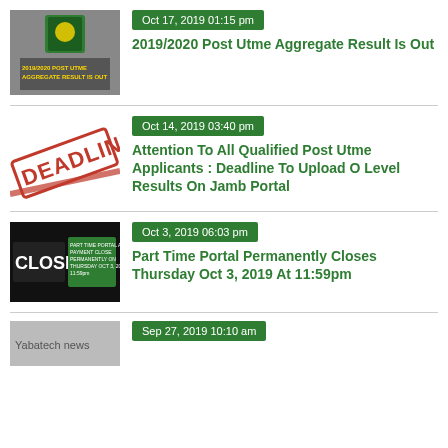[Figure (photo): University logo thumbnail with text '2019/2020 POST UTME AGGREGATE RESULT IS OUT' in yellow on grey background]
Oct 17, 2019 01:15 pm
2019/2020 Post Utme Aggregate Result Is Out
[Figure (photo): Red DEADLINE stamp image on white background]
Oct 14, 2019 03:40 pm
Attention To All Qualified Post Utme Applicants : Deadline To Upload O Level Results On Jamb Portal
[Figure (photo): CLOSE sign with text 'PART TIME PORTAL AND PAYMENT CLOSE PERMANENTLY ON THURSDAY OCT 3, 2019 11:59pm']
Oct 3, 2019 06:03 pm
Part Time Portal Permanently Closes Thursday Oct 3, 2019 At 11:59pm
[Figure (photo): Yabatech news thumbnail (partially visible)]
Sep 27, 2019 10:10 am